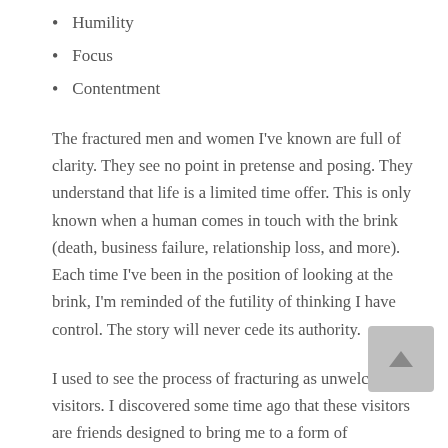Humility
Focus
Contentment
The fractured men and women I've known are full of clarity. They see no point in pretense and posing. They understand that life is a limited time offer. This is only known when a human comes in touch with the brink (death, business failure, relationship loss, and more). Each time I've been in the position of looking at the brink, I'm reminded of the futility of thinking I have control. The story will never cede its authority.
I used to see the process of fracturing as unwelcome visitors. I discovered some time ago that these visitors are friends designed to bring me to a form of completeness.
In the age we live in, my words are contrarian and not talked about. Everything is about winning, typically at all costs. You